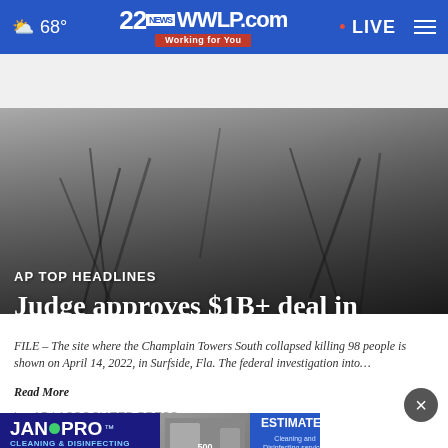68° | 22NEWS WWLP.com Working for You | • LIVE
[Figure (photo): Dark hero image showing debris/twisted metal rods at the Champlain Towers South collapse site with AP TOP HEADLINES label and headline overlaid]
AP TOP HEADLINES
Judge approves $1B+ deal in deadly Florida condo collapse
FILE – The site where the Champlain Towers South collapsed killing 98 people is shown on April 14, 2022, in Surfside, Fla. The federal investigation into…
Read More
by: AP | ASSOCIATED PRESS
Associated Press
Posted: Jun 23, 2022 / 01:42 PM EDT
Updated: Jun 23, 2022 / 01:42 PM EDT
[Figure (other): JAN-PRO Cleaning & Disinfecting Western Massachusetts advertisement banner with Free Estimates offer]